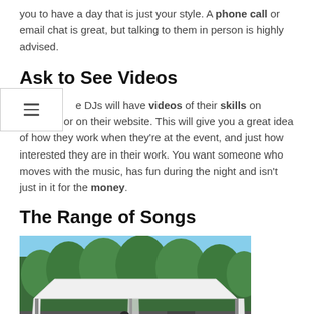you to have a day that is just your style. A phone call or email chat is great, but talking to them in person is highly advised.
Ask to See Videos
e DJs will have videos of their skills on YouTube or on their website. This will give you a great idea of how they work when they're at the event, and just how interested they are in their work. You want someone who moves with the music, has fun during the night and isn't just in it for the money.
The Range of Songs
[Figure (photo): Outdoor event setup with a white canopy/tent structure in a garden setting with trees in the background and audio equipment visible underneath.]